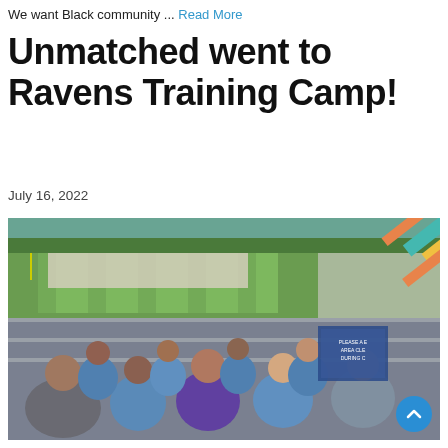We want Black community ... Read More
Unmatched went to Ravens Training Camp!
July 16, 2022
[Figure (photo): Group photo of Unmatched team members sitting in bleachers at Ravens Training Camp, with a football field visible in the background. Attendees are wearing blue and purple Unmatched/Ravens t-shirts. Decorative diagonal stripe graphic in upper right corner.]